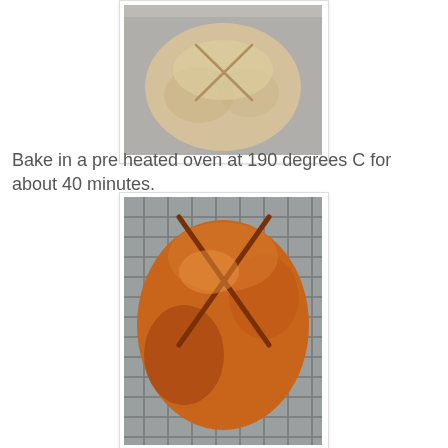[Figure (photo): A round ball of raw bread dough with a cross scored on top, sitting on a metal baking tray.]
Bake in a pre heated oven at 190 degrees C for about 40 minutes.
[Figure (photo): A baked round Irish soda bread loaf with a golden-brown crust and a cross cut on top, cooling on a wire rack.]